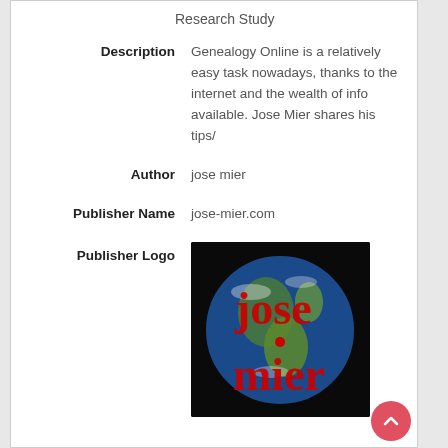Research Study
| Description | Genealogy Online is a relatively easy task nowadays, thanks to the internet and the wealth of info available. Jose Mier shares his tips/ |
| Author | jose mier |
| Publisher Name | jose-mier.com |
| Publisher Logo | [image of globe with jose mier text] |
[Figure (logo): Publisher logo: globe with 'jose mier' text in red overlaid on an Earth globe image against black background]